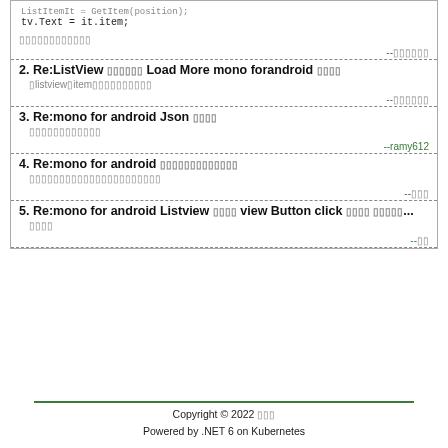ListItemIt = GetItem(position);
tv.Text = it.item;
[obscured text]
--[obscured]
2. Re:ListView [obscured] Load More mono forandroid [obscured]
[listview][item][obscured]
--[obscured]
3. Re:mono for android Json [obscured]
[obscured]
--ramy612
4. Re:mono for android [obscured]
[obscured]
--[obscured]
5. Re:mono for android Listview [obscured] view Button click [obscured] [obscured]...
[obscured]
--[obscured]
Copyright © 2022 [obscured]
Powered by .NET 6 on Kubernetes